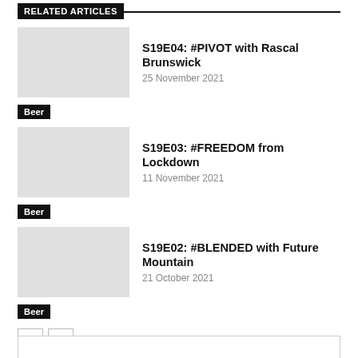RELATED ARTICLES
S19E04: #PIVOT with Rascal Brunswick
25 November 2021
Beer
S19E03: #FREEDOM from Lockdown
11 November 2021
Beer
S19E02: #BLENDED with Future Mountain
21 October 2021
Beer